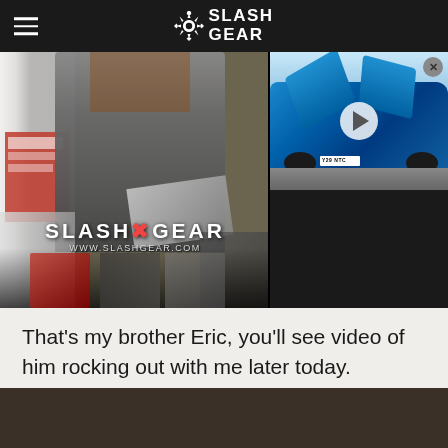SlashGear
[Figure (photo): Split image showing left: a man in a store holding a box near shelves with electronics/gaming products with SlashGear watermark overlay; right top: a blue McLaren sports car with doors open, right bottom: dark area. A play button is visible on the car image.]
That's my brother Eric, you'll see video of him rocking out with me later today.